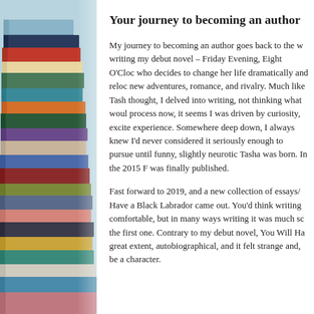[Figure (photo): Stack of books with colorful spines photographed from the side, with a light blue/teal background]
Your journey to becoming an author
My journey to becoming an author goes back to the writing my debut novel – Friday Evening, Eight O'Cloc who decides to change her life dramatically and reloc new adventures, romance, and rivalry. Much like Tash thought, I delved into writing, not thinking what woul process now, it seems I was driven by curiosity, excite experience. Somewhere deep down, I always knew I'd never considered it seriously enough to pursue until funny, slightly neurotic Tasha was born. In the 2015 F was finally published.
Fast forward to 2019, and a new collection of essays/ Have a Black Labrador came out. You'd think writing comfortable, but in many ways writing it was much sc the first one. Contrary to my debut novel, You Will Ha great extent, autobiographical, and it felt strange and, be a character.